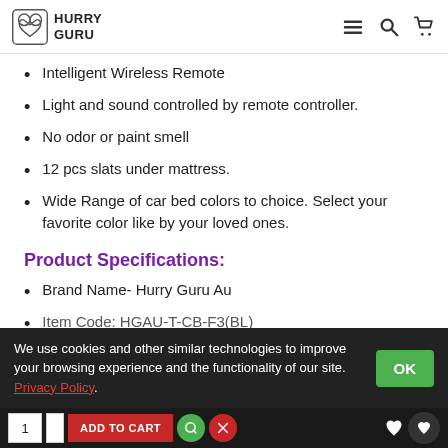Hurry Guru
Intelligent Wireless Remote
Light and sound controlled by remote controller.
No odor or paint smell
12 pcs slats under mattress.
Wide Range of car bed colors to choice. Select your favorite color like by your loved ones.
Product Specifications:
Brand Name- Hurry Guru Au
Item Code: HGAU-T-CB-F3(BL)
We use cookies and other similar technologies to improve your browsing experience and the functionality of our site. Privacy Policy.